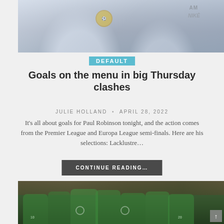[Figure (photo): Two people in Chelsea FC light gray/white training jackets, one with a gold Chelsea badge visible, the other with a Nike logo, standing together]
DEFAULT
Goals on the menu in big Thursday clashes
JULIE HOLLAND  •  APRIL 28, 2022
It's all about goals for Paul Robinson tonight, and the action comes from the Premier League and Europa League semi-finals. Here are his selections: Lacklustre…
CONTINUE READING…
[Figure (photo): Wolfsburg football players in green jerseys celebrating on the pitch, with a crowded stadium in the background]